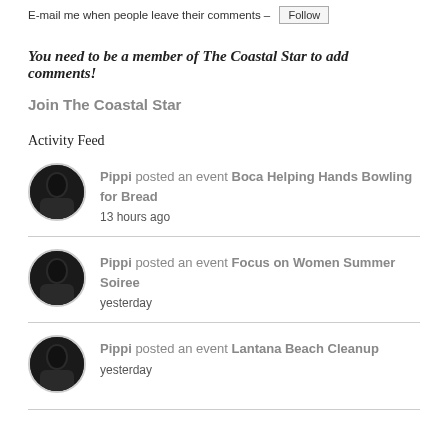E-mail me when people leave their comments – Follow
You need to be a member of The Coastal Star to add comments!
Join The Coastal Star
Activity Feed
Pippi posted an event Boca Helping Hands Bowling for Bread
13 hours ago
Pippi posted an event Focus on Women Summer Soiree
yesterday
Pippi posted an event Lantana Beach Cleanup
yesterday